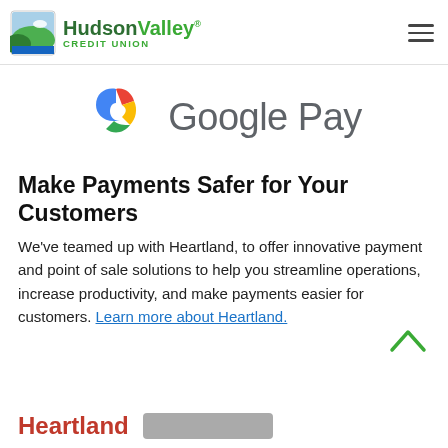Hudson Valley Credit Union
[Figure (logo): Google Pay logo with colorful G-shaped icon and 'Google Pay' text in gray]
Make Payments Safer for Your Customers
We've teamed up with Heartland, to offer innovative payment and point of sale solutions to help you streamline operations, increase productivity, and make payments easier for customers. Learn more about Heartland.
[Figure (logo): Partial Heartland logo in red text at bottom of page]